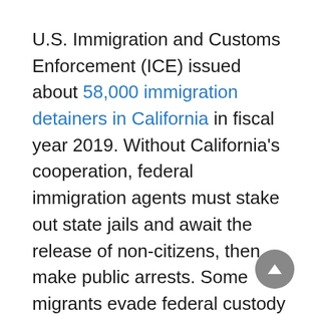U.S. Immigration and Customs Enforcement (ICE) issued about 58,000 immigration detainers in California in fiscal year 2019. Without California's cooperation, federal immigration agents must stake out state jails and await the release of non-citizens, then make public arrests. Some migrants evade federal custody altogether.
“The practical consequences of California’s obstruction are not theoretical; as a result of SB 54, criminal aliens have evaded the detention and removal that Congress prescribed, and have instead returned to the civilian population, where they are disproportionately likely to commit additional crimes,” the government’s petition reads